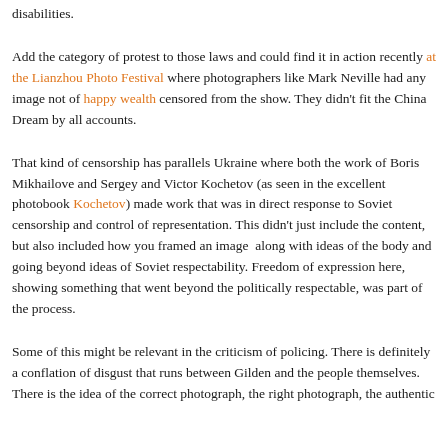disabilities.
Add the category of protest to those laws and could find it in action recently at the Lianzhou Photo Festival where photographers like Mark Neville had any image not of happy wealth censored from the show. They didn't fit the China Dream by all accounts.
That kind of censorship has parallels Ukraine where both the work of Boris Mikhailove and Sergey and Victor Kochetov (as seen in the excellent photobook Kochetov) made work that was in direct response to Soviet censorship and control of representation. This didn't just include the content, but also included how you framed an image  along with ideas of the body and going beyond ideas of Soviet respectability. Freedom of expression here, showing something that went beyond the politically respectable, was part of the process.
Some of this might be relevant in the criticism of policing. There is definitely a conflation of disgust that runs between Gilden and the people themselves. There is the idea of the correct photograph, the right photograph, the authentic